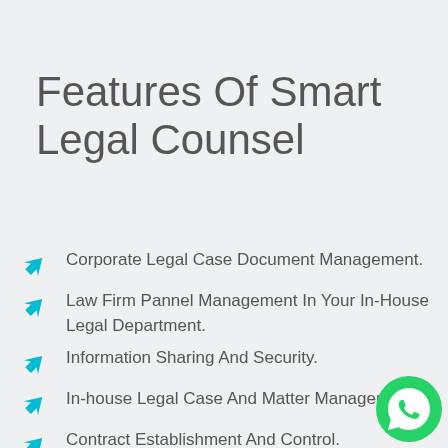Features Of Smart Legal Counsel
Corporate Legal Case Document Management.
Law Firm Pannel Management In Your In-House Legal Department.
Information Sharing And Security.
In-house Legal Case And Matter Management.
Contract Establishment And Control.
[Figure (logo): WhatsApp circular green logo button in bottom right corner]